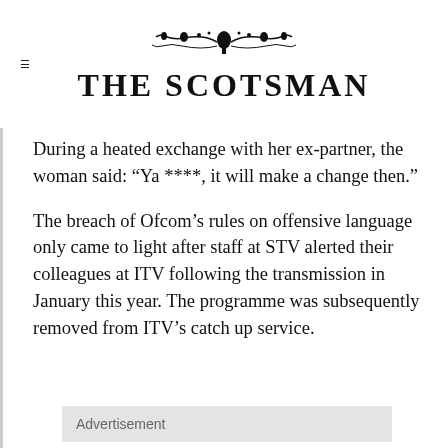THE SCOTSMAN
During a heated exchange with her ex-partner, the woman said: “Ya ****, it will make a change then.”
The breach of Ofcom’s rules on offensive language only came to light after staff at STV alerted their colleagues at ITV following the transmission in January this year. The programme was subsequently removed from ITV’s catch up service.
Advertisement